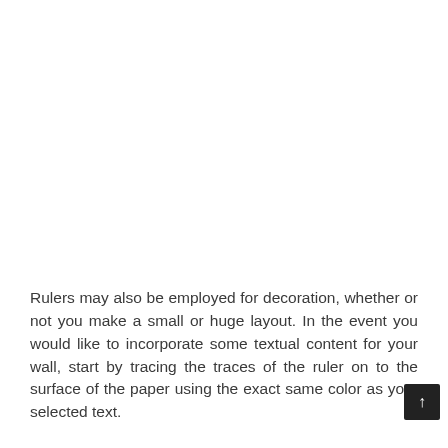Rulers may also be employed for decoration, whether or not you make a small or huge layout. In the event you would like to incorporate some textual content for your wall, start by tracing the traces of the ruler on to the surface of the paper using the exact same color as your selected text.